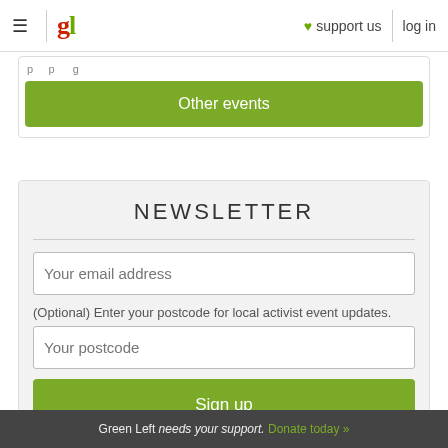gl  ♥ support us  log in
Other events
NEWSLETTER
Your email address
(Optional) Enter your postcode for local activist event updates.
Your postcode
Sign up
Green Left needs your support. Donate today »